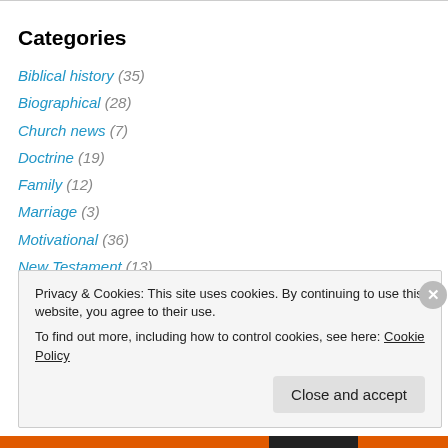Categories
Biblical history (35)
Biographical (28)
Church news (7)
Doctrine (19)
Family (12)
Marriage (3)
Motivational (36)
New Testament (13)
Old Testament (16)
Political (2)
Privacy & Cookies: This site uses cookies. By continuing to use this website, you agree to their use. To find out more, including how to control cookies, see here: Cookie Policy